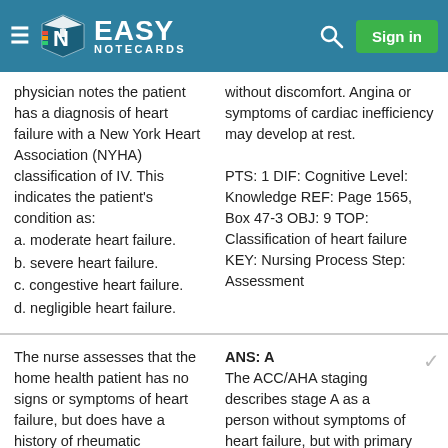Easy Notecards — Sign in
physician notes the patient has a diagnosis of heart failure with a New York Heart Association (NYHA) classification of IV. This indicates the patient's condition as:
a. moderate heart failure.
b. severe heart failure.
c. congestive heart failure.
d. negligible heart failure.
without discomfort. Angina or symptoms of cardiac inefficiency may develop at rest.

PTS: 1 DIF: Cognitive Level: Knowledge REF: Page 1565, Box 47-3 OBJ: 9 TOP: Classification of heart failure
KEY: Nursing Process Step: Assessment
The nurse assesses that the home health patient has no signs or symptoms of heart failure, but does have a history of rheumatic
ANS: A
The ACC/AHA staging describes stage A as a person without symptoms of heart failure, but with primary conditions